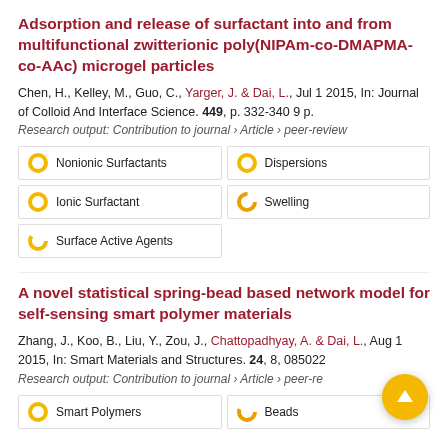Adsorption and release of surfactant into and from multifunctional zwitterionic poly(NIPAm-co-DMAPMA-co-AAc) microgel particles
Chen, H., Kelley, M., Guo, C., Yarger, J. & Dai, L., Jul 1 2015, In: Journal of Colloid And Interface Science. 449, p. 332-340 9 p.
Research output: Contribution to journal › Article › peer-review
Nonionic Surfactants
Dispersions
Ionic Surfactant
Swelling
Surface Active Agents
A novel statistical spring-bead based network model for self-sensing smart polymer materials
Zhang, J., Koo, B., Liu, Y., Zou, J., Chattopadhyay, A. & Dai, L., Aug 1 2015, In: Smart Materials and Structures. 24, 8, 085022
Research output: Contribution to journal › Article › peer-review
Smart Polymers
Beads